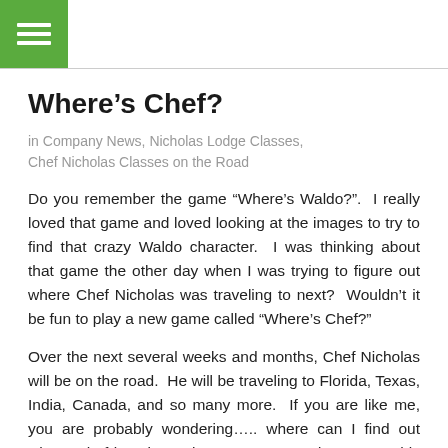Where’s Chef?
in Company News, Nicholas Lodge Classes, Chef Nicholas Classes on the Road
Do you remember the game “Where’s Waldo?”.  I really loved that game and loved looking at the images to try to find that crazy Waldo character.  I was thinking about that game the other day when I was trying to figure out where Chef Nicholas was traveling to next?  Wouldn’t it be fun to play a new game called “Where’s Chef?”
Over the next several weeks and months, Chef Nicholas will be on the road.  He will be traveling to Florida, Texas, India, Canada, and so many more.  If you are like me, you are probably wondering….. where can I find out where Chef is going to be next?  Now, I don’t mean this in a creepy ‘stalking’ kind of way, but more like ‘where is Chef and if he happens to come to